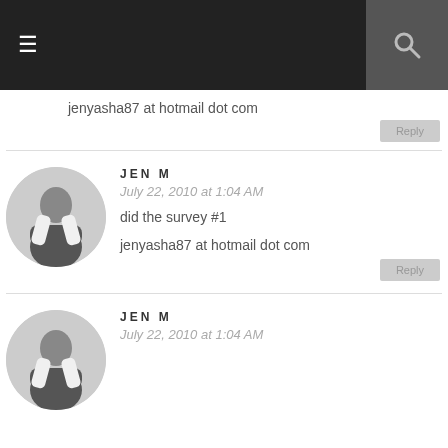≡ [hamburger menu] | [search icon]
jenyasha87 at hotmail dot com
Reply
JEN M
July 22, 2010 at 1:04 AM
did the survey #1
jenyasha87 at hotmail dot com
Reply
JEN M
July 22, 2010 at 1:04 AM